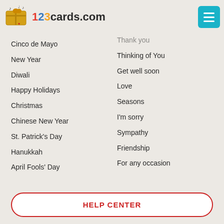123cards.com
Cinco de Mayo
New Year
Diwali
Happy Holidays
Christmas
Chinese New Year
St. Patrick's Day
Hanukkah
April Fools' Day
Thank you
Thinking of You
Get well soon
Love
Seasons
I'm sorry
Sympathy
Friendship
For any occasion
HELP CENTER